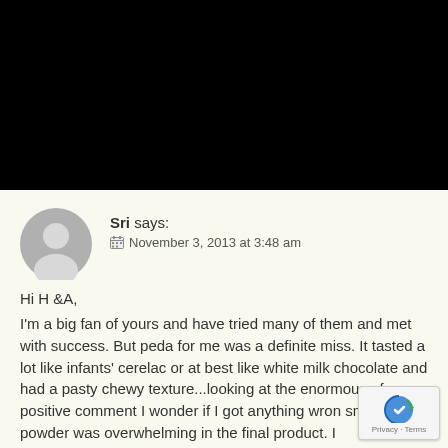[Figure (photo): Black rectangular area at the top of the page, representing a cropped/hidden image section]
Sri says:
November 3, 2013 at 3:48 am
Hi H &A,

I'm a big fan of yours and have tried many of them and met with success. But peda for me was a definite miss. It tasted a lot like infants' cerelac or at best like white milk chocolate and had a pasty chewy texture...looking at the enormous of positive comment I wonder if I got anything wron smell of milk powder was overwhelming in the final product. I